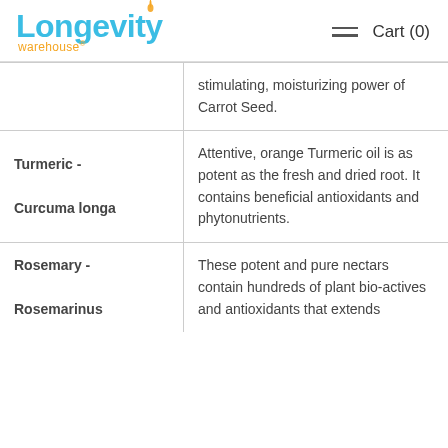Longevity warehouse — Cart (0)
| Ingredient | Description |
| --- | --- |
|  | stimulating, moisturizing power of Carrot Seed. |
| Turmeric - Curcuma longa | Attentive, orange Turmeric oil is as potent as the fresh and dried root. It contains beneficial antioxidants and phytonutrients. |
| Rosemary - Rosemarinus | These potent and pure nectars contain hundreds of plant bio-actives and antioxidants that extends |